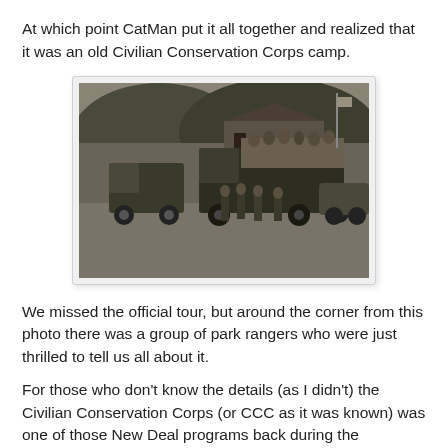At which point CatMan put it all together and realized that it was an old Civilian Conservation Corps camp.
[Figure (photo): Black and white historical photograph showing military-style trucks loaded with many people, with several uniformed men standing in the foreground, near a building and wooded hillside.]
We missed the official tour, but around the corner from this photo there was a group of park rangers who were just thrilled to tell us all about it.
For those who don't know the details (as I didn't) the Civilian Conservation Corps (or CCC as it was known) was one of those New Deal programs back during the depression, which "employed" young men for the bargain price of $30/month. They...